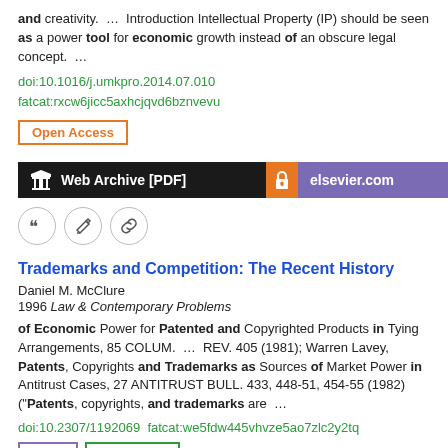and creativity.  ...  Introduction Intellectual Property (IP) should be seen as a power tool for economic growth instead of an obscure legal concept.  ...
doi:10.1016/j.umkpro.2014.07.010
fatcat:rxcw6jicc5axhcjqvd6bznvevu
Open Access
[Figure (other): Web Archive [PDF] button (dark background) and elsevier.com button (purple background with orange lock icon)]
[Figure (other): Three icon circles: quote, edit, and link icons]
Trademarks and Competition: The Recent History
Daniel M. McClure
1996 Law & Contemporary Problems
of Economic Power for Patented and Copyrighted Products in Tying Arrangements, 85 COLUM.  ...  REV. 405 (1981); Warren Lavey, Patents, Copyrights and Trademarks as Sources of Market Power in Antitrust Cases, 27 ANTITRUST BULL. 433, 448-51, 454-55 (1982) ("Patents, copyrights, and trademarks are  ...
doi:10.2307/1192069  fatcat:we5fdw445vhvze5ao7zlc2y2tq
[Figure (other): JSTOR button (purple border) and Open Access button (green border) partially visible at bottom]